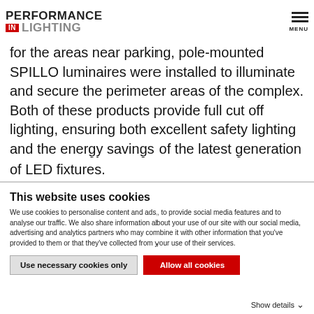PERFORMANCE IN LIGHTING — MENU
and small fountains that have been enhanced with PADO 600 pole-mounted landscape luminaires, while for the areas near parking, pole-mounted SPILLO luminaires were installed to illuminate and secure the perimeter areas of the complex. Both of these products provide full cut off lighting, ensuring both excellent safety lighting and the energy savings of the latest generation of LED fixtures.
This website uses cookies
We use cookies to personalise content and ads, to provide social media features and to analyse our traffic. We also share information about your use of our site with our social media, advertising and analytics partners who may combine it with other information that you've provided to them or that they've collected from your use of their services.
Use necessary cookies only | Allow all cookies
Show details